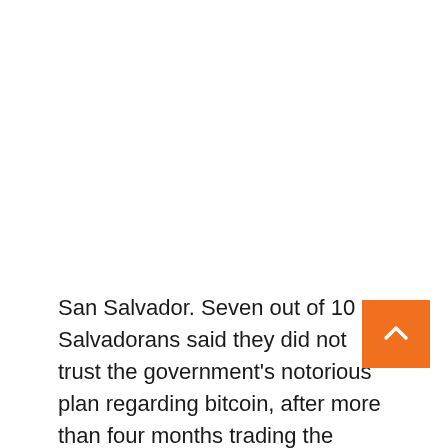San Salvador. Seven out of 10 Salvadorans said they did not trust the government's notorious plan regarding bitcoin, after more than four months trading the cryptocurrency as legal tender in the Central American country, a survey by Tri...